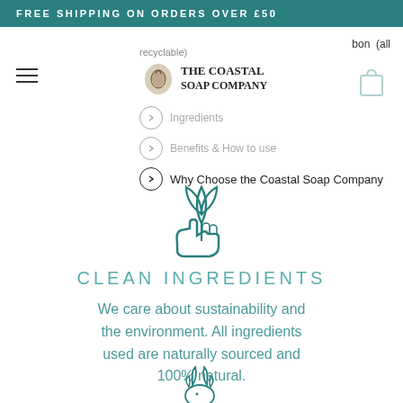FREE SHIPPING ON ORDERS OVER £50
bon (all
recyclable)
[Figure (logo): The Coastal Soap Company logo with shell/leaf illustration]
[Figure (illustration): Shopping bag icon]
Ingredients
Benefits & How to use
Why Choose the Coastal Soap Company
[Figure (illustration): Hand holding a plant/leaf icon in teal outline style]
CLEAN INGREDIENTS
We care about sustainability and the environment. All ingredients used are naturally sourced and 100% natural.
[Figure (illustration): Cruelty-free bunny logo with leaf and CRUELTY text around it]